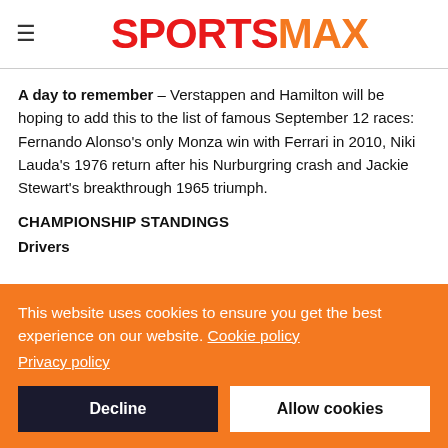SPORTSMAX
A day to remember – Verstappen and Hamilton will be hoping to add this to the list of famous September 12 races: Fernando Alonso's only Monza win with Ferrari in 2010, Niki Lauda's 1976 return after his Nurburgring crash and Jackie Stewart's breakthrough 1965 triumph.
CHAMPIONSHIP STANDINGS
Drivers
This website uses cookies to ensure you get the best experience on our website. Cookie policy Privacy policy
Decline
Allow cookies